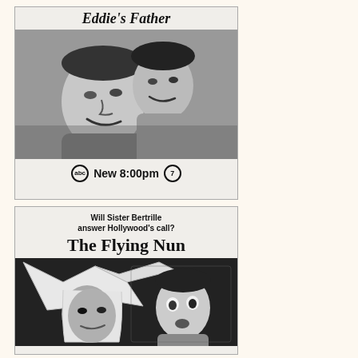[Figure (illustration): Vintage TV advertisement for 'The Courtship of Eddie's Father' on ABC Channel 7 at New 8:00pm. Shows a black-and-white photo of a smiling adult man and a child. Text reads 'Eddie's Father' with ABC logo and '7' circle.]
[Figure (illustration): Vintage TV advertisement for 'The Flying Nun'. Tagline reads 'Will Sister Bertrille answer Hollywood's call?' Shows black-and-white photo of actress in nun's habit with wide cornette headpiece and a young child with surprised expression.]